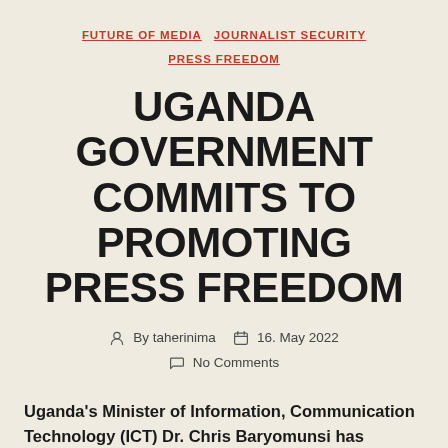FUTURE OF MEDIA   JOURNALIST SECURITY   PRESS FREEDOM
UGANDA GOVERNMENT COMMITS TO PROMOTING PRESS FREEDOM
By taherinima   16. May 2022   No Comments
Uganda's Minister of Information, Communication Technology (ICT) Dr. Chris Baryomunsi has pledged government's commitment to promote media